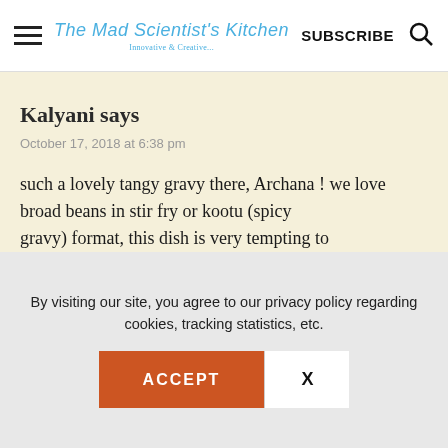The Mad Scientist's Kitchen | SUBSCRIBE
Kalyani says
October 17, 2018 at 6:38 pm
such a lovely tangy gravy there, Archana ! we love broad beans in stir fry or kootu (spicy gravy) format, this dish is very tempting to
By visiting our site, you agree to our privacy policy regarding cookies, tracking statistics, etc.
ACCEPT
X